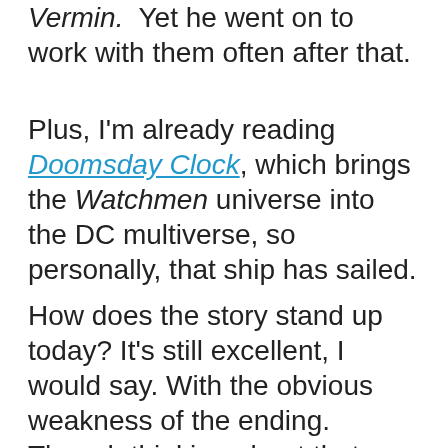Vermin. Yet he went on to work with them often after that.
Plus, I'm already reading Doomsday Clock, which brings the Watchmen universe into the DC multiverse, so personally, that ship has sailed.
How does the story stand up today? It's still excellent, I would say. With the obvious weakness of the ending. Though thinking about that, what's weak is how preposterous Veidt's plan is. Accepting that, that part of the story is well executed.